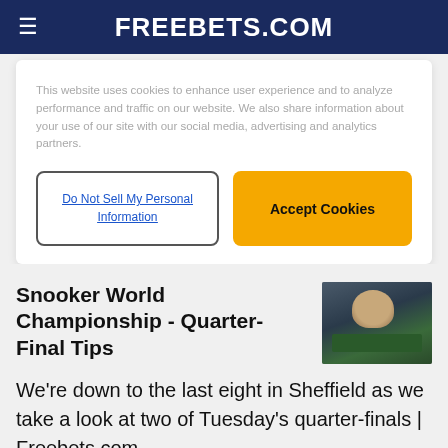FREEBETS.COM
This website uses cookies to enhance user experience and to analyze performance and traffic on our website. We also share information about your use of our site with our social media, advertising and analytics partners.
Do Not Sell My Personal Information
Accept Cookies
Snooker World Championship - Quarter-Final Tips
[Figure (photo): A snooker player leaning over a snooker table, about to take a shot, viewed from side]
We're down to the last eight in Sheffield as we take a look at two of Tuesday's quarter-finals | Freebets.com